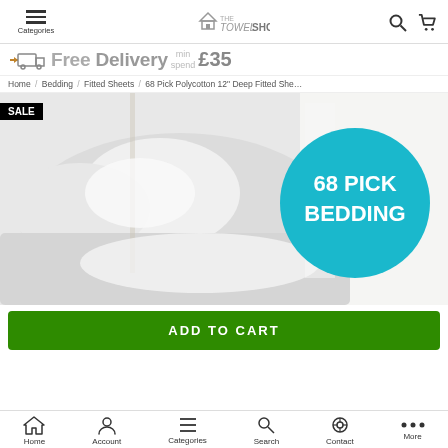Categories — The Towel Shop
Free Delivery min spend £35
Home / Bedding / Fitted Sheets / 68 Pick Polycotton 12" Deep Fitted Sheets
[Figure (photo): White fitted bed sheet on a made bed. Teal circle badge with text '68 PICK BEDDING'. Black SALE badge top-left.]
ADD TO CART
Home | Account | Categories | Search | Contact | More